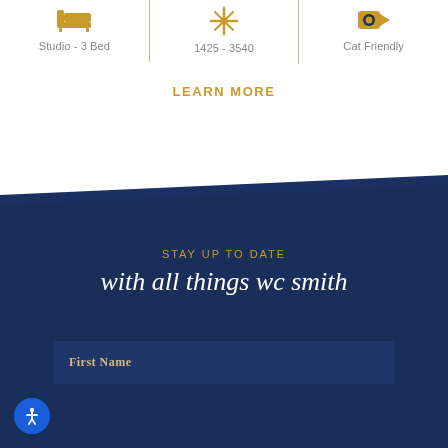[Figure (infographic): Three icons in a row separated by gold vertical dividers: bed icon labeled Studio - 3 Bed, water drop/snowflake icon labeled 1425 - 3540, video camera icon labeled Cat Friendly]
LEARN MORE
STAY UP TO DATE
with all things wc smith
First Name